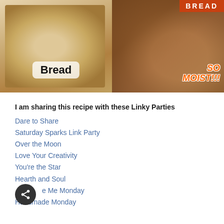[Figure (photo): Collage of two bread images side by side. Left side shows a slice of seeded multigrain bread with the word 'Bread' overlaid in bold text on a white rounded rectangle. Right side shows dark moist banana/fruit bread slices with 'SO MOIST!!!' text overlaid in orange italic font. An orange banner at top right reads 'BREAD'.]
I am sharing this recipe with these Linky Parties
Dare to Share
Saturday Sparks Link Party
Over the Moon
Love Your Creativity
You're the Star
Hearth and Soul
e Me Monday
Handmade Monday